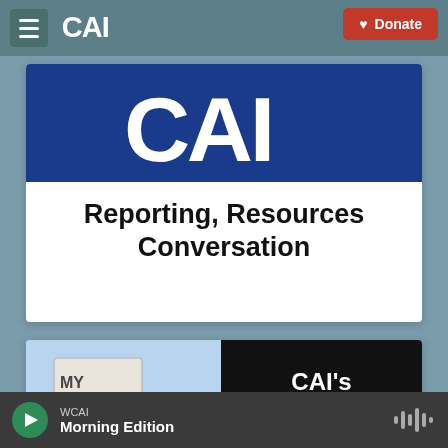CAI navigation bar with hamburger menu, CAI logo, and Donate button
[Figure (screenshot): CAI logo on blue background above text reading 'Reporting, Resources Conversation']
Reporting, Resources
Conversation
[Figure (screenshot): Split image: left side shows protest sign 'MY LIE...' on light blue background; right side black background with white text 'CAI's']
WCAI  Morning Edition (player bar with play button and audio wave icon)